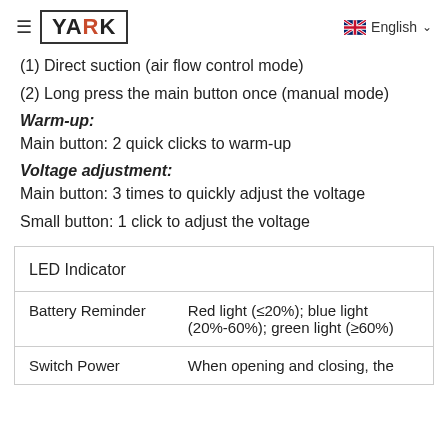≡ YARK   🇬🇧 English ∨
(1) Direct suction (air flow control mode)
(2) Long press the main button once (manual mode)
Warm-up:
Main button: 2 quick clicks to warm-up
Voltage adjustment:
Main button: 3 times to quickly adjust the voltage
Small button: 1 click to adjust the voltage
| LED Indicator |  |
| --- | --- |
| Battery Reminder | Red light (≤20%); blue light (20%-60%); green light (≥60%) |
| Switch Power | When opening and closing, the |